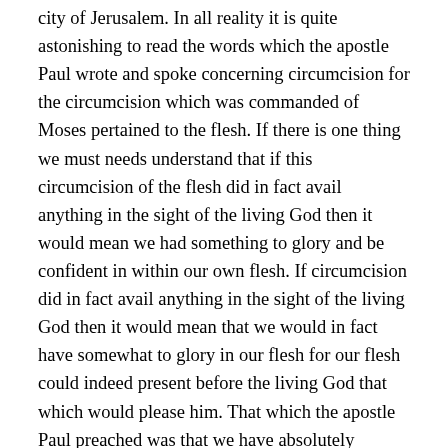city of Jerusalem. In all reality it is quite astonishing to read the words which the apostle Paul wrote and spoke concerning circumcision for the circumcision which was commanded of Moses pertained to the flesh. If there is one thing we must needs understand that if this circumcision of the flesh did in fact avail anything in the sight of the living God then it would mean we had something to glory and be confident in within our own flesh. If circumcision did in fact avail anything in the sight of the living God then it would mean that we would in fact have somewhat to glory in our flesh for our flesh could indeed present before the living God that which would please him. That which the apostle Paul preached was that we have absolutely nothing to glorify the living God in our flesh and that circumcision of the flesh availed nothing in the sight of the living God.
What we find within these chapters in the New Testament body of teaching comes from with th...